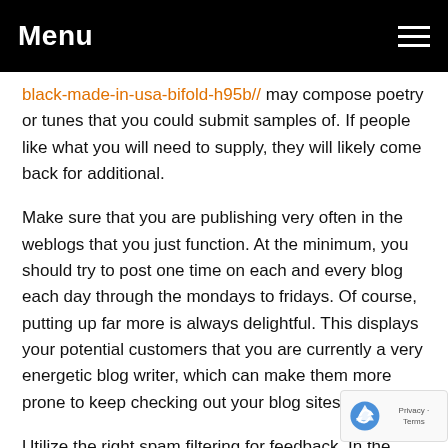Menu
black-made-in-usa-bifold-h95b// may compose poetry or tunes that you could submit samples of. If people like what you will need to supply, they will likely come back for additional.
Make sure that you are publishing very often in the weblogs that you just function. At the minimum, you should try to post one time on each and every blog each day through the mondays to fridays. Of course, putting up far more is always delightful. This displays your potential customers that you are currently a very energetic blog writer, which can make them more prone to keep checking out your blog sites.
Utilize the right spam filtering for feedback. In the event require enrollment to opinion, a CAPTCHA about the si webpage is often adequate to maintain spammers apart. In the